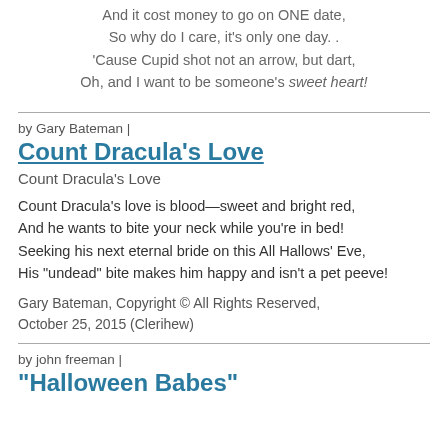And it cost money to go on ONE date,
So why do I care, it's only one day. .

'Cause Cupid shot not an arrow, but dart,
Oh, and I want to be someone's sweet heart!
by Gary Bateman |
Count Dracula's Love
Count Dracula's Love
Count Dracula's love is blood—sweet and bright red,
And he wants to bite your neck while you're in bed!
Seeking his next eternal bride on this All Hallows' Eve,
His "undead" bite makes him happy and isn't a pet peeve!
Gary Bateman, Copyright © All Rights Reserved,
October 25, 2015 (Clerihew)
by john freeman |
"Halloween Babes"